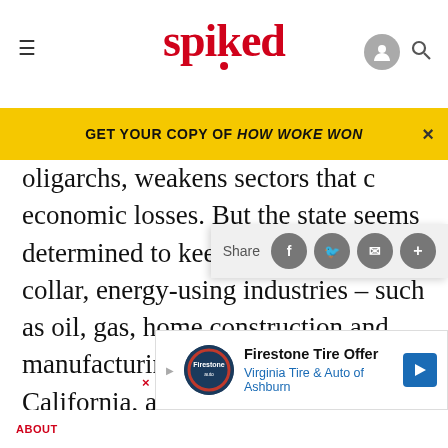spiked
GET YOUR COPY OF HOW WOKE WON
oligarchs, weakens sectors that d… economic losses. But the state seems determined to keep hammering blue-collar, energy-using industries – such as oil, gas, home construction and manufacturing. This means that California, a state with large oil reserves and agricultural production, cannot rely on its analogue strengths. Right now, amid the supply-chain crisis and in the wake of the Russian invasion of Ukraine, investing in oil, gas,
[Figure (screenshot): Firestone Tire Offer advertisement banner for Virginia Tire & Auto of Ashburn]
ABOUT